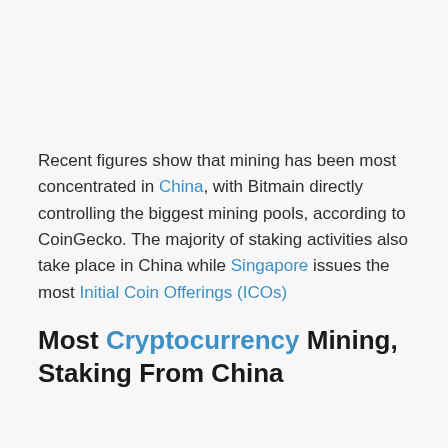Recent figures show that mining has been most concentrated in China, with Bitmain directly controlling the biggest mining pools, according to CoinGecko. The majority of staking activities also take place in China while Singapore issues the most Initial Coin Offerings (ICOs)
Most Cryptocurrency Mining, Staking From China